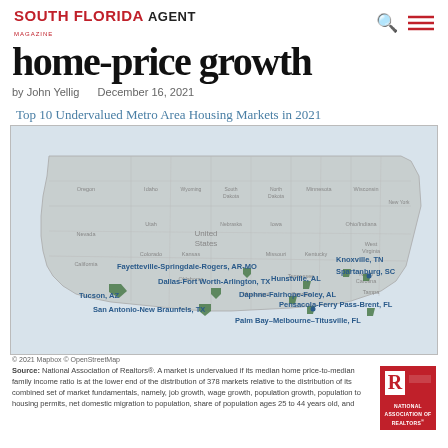SOUTH FLORIDA AGENT
home-price growth
by John Yellig    December 16, 2021
Top 10 Undervalued Metro Area Housing Markets in 2021
[Figure (map): US map showing top 10 undervalued metro area housing markets in 2021, with green markers at: Fayetteville-Springdale-Rogers AR-MO, Dallas-Fort Worth-Arlington TX, Tucson AZ, San Antonio-New Braunfels TX, Daphne-Fairhope-Foley AL, Hunstville AL, Knoxville TN, Spartanburg SC, Pensacola-Ferry Pass-Brent FL, Palm Bay-Melbourne-Titusville FL]
© 2021 Mapbox © OpenStreetMap
Source: National Association of Realtors®. A market is undervalued if its median home price-to-median family income ratio is at the lower end of the distribution of 378 markets relative to the distribution of its combined set of market fundamentals, namely, job growth, wage growth, population growth, population to housing permits, net domestic migration to population, share of population ages 25 to 44 years old, and